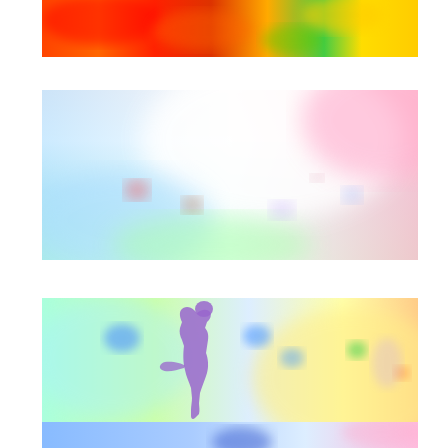[Figure (continuous-plot): First panel: a wide horizontal strip showing a colorful optical flow or depth map visualization. Colors range from red and orange on the left and yellow on the right, with green and blue in between. The image is a blurred, rainbow-colored abstract visualization.]
[Figure (continuous-plot): Second panel: a wide horizontal strip showing a colorful optical flow or depth map visualization with a sky-like scene. Colors include white and pale blue in the center-top, pink on the upper right, light blue and green in the lower left, and soft pastel tones throughout. Appears to show a scene with clouds.]
[Figure (continuous-plot): Third panel: a wide horizontal strip showing a colorful optical flow or depth map visualization. Predominantly yellow-green and light blue background with a prominent purple silhouette of a bird (or cat-like figure) in the center-left. Small blue blobs scattered around. Orange and yellow tones on the right side.]
[Figure (continuous-plot): Fourth panel (partially visible at bottom): a wide horizontal strip showing a colorful visualization. Predominantly light blue and pastel pink tones with a dark blue blob visible in the center-bottom.]